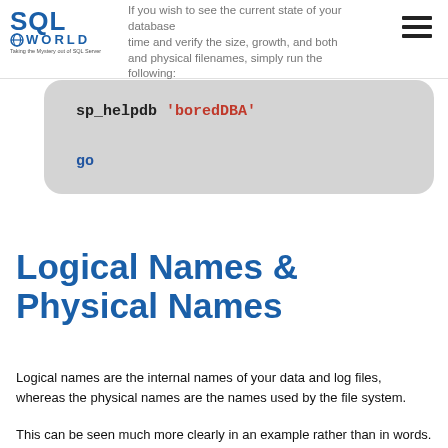SQL World — Taking the Mystery out of SQL Server
If you wish to see the current state of your database any time and verify the size, growth, and both and physical filenames, simply run the following:
sp_helpdb 'boredDBA'

go
Logical Names & Physical Names
Logical names are the internal names of your data and log files, whereas the physical names are the names used by the file system.
This can be seen much more clearly in an example rather than in words. Here, "name" is the internal SQL Server logical name, and "filename" is the name used by the operating system...